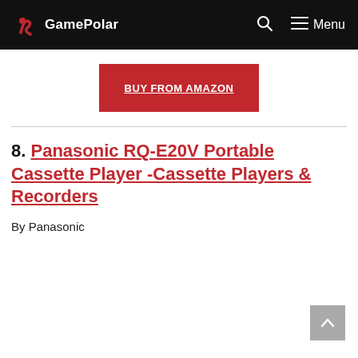GamePolar — Menu
BUY FROM AMAZON
8. Panasonic RQ-E20V Portable Cassette Player -Cassette Players & Recorders
By Panasonic